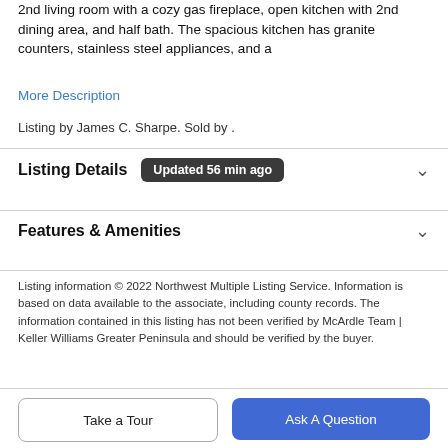2nd living room with a cozy gas fireplace, open kitchen with 2nd dining area, and half bath. The spacious kitchen has granite counters, stainless steel appliances, and a
More Description
Listing by James C. Sharpe. Sold by .
Listing Details   Updated 56 min ago
Features & Amenities
Listing information © 2022 Northwest Multiple Listing Service. Information is based on data available to the associate, including county records. The information contained in this listing has not been verified by McArdle Team | Keller Williams Greater Peninsula and should be verified by the buyer.
Take a Tour
Ask A Question